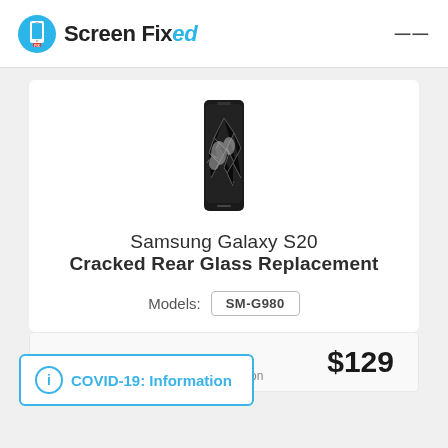Screen Fixed
[Figure (photo): Samsung Galaxy S20 smartphone with cracked rear glass, shown from the front, black device with fractured screen/glass visible]
Samsung Galaxy S20 Cracked Rear Glass Replacement
Models: SM-G980
$129
COVID-19: Information